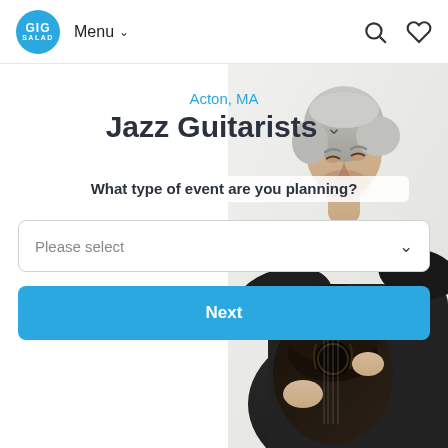GIG SALAD — Menu — Search — Favorites
Acton, MA
Jazz Guitarists
What type of event are you planning?
Please select
Next
[Figure (photo): Partial image of an older man with white/grey hair playing a dark jazz guitar, wearing a black jacket, visible from chest up, positioned on the right side of the page.]